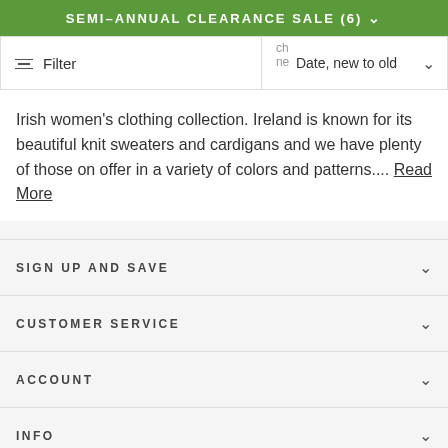SEMI-ANNUAL CLEARANCE SALE (6)
Filter | Date, new to old
Irish women's clothing collection. Ireland is known for its beautiful knit sweaters and cardigans and we have plenty of those on offer in a variety of colors and patterns.... Read More
SIGN UP AND SAVE
CUSTOMER SERVICE
ACCOUNT
INFO